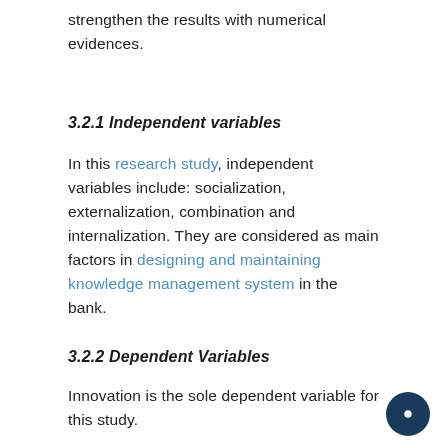strengthen the results with numerical evidences.
3.2.1 Independent variables
In this research study, independent variables include: socialization, externalization, combination and internalization. They are considered as main factors in designing and maintaining knowledge management system in the bank.
3.2.2 Dependent Variables
Innovation is the sole dependent variable for this study.
3.3 Research Hypothesis